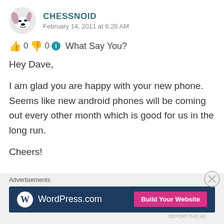CHESSNOID — February 14, 2011 at 6:28 AM
👍 0 👎 0 ℹ What Say You?
Hey Dave,

I am glad you are happy with your new phone. Seems like new android phones will be coming out every other month which is good for us in the long run.

Cheers!
Advertisements
[Figure (other): WordPress.com ad banner with 'Build Your Website' button]